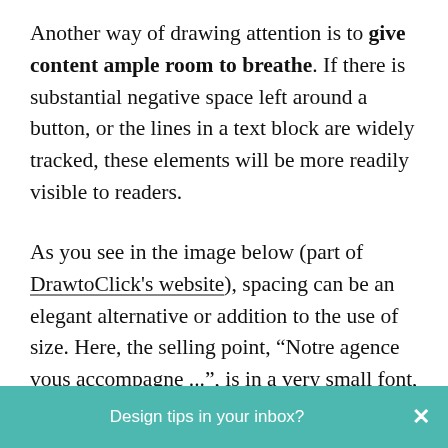Another way of drawing attention is to give content ample room to breathe. If there is substantial negative space left around a button, or the lines in a text block are widely tracked, these elements will be more readily visible to readers.

As you see in the image below (part of DrawtoClick's website), spacing can be an elegant alternative or addition to the use of size. Here, the selling point, “Notre agence vous accompagne ...”, is in a very small font, but it is surrounded by an excess of white space that signals its importance. Below, the phrases “Le Comprendre,” “Le Réalise” and
Design tips in your inbox?